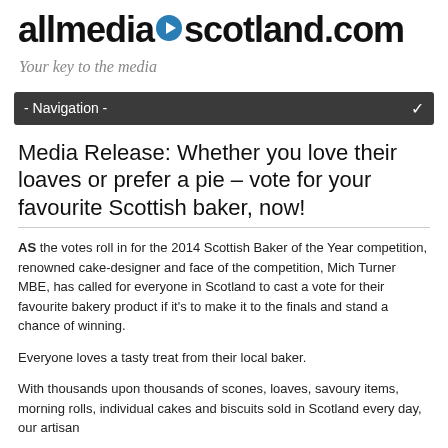allmediascotland.com
Your key to the media
- Navigation -
Media Release: Whether you love their loaves or prefer a pie – vote for your favourite Scottish baker, now!
AS the votes roll in for the 2014 Scottish Baker of the Year competition, renowned cake-designer and face of the competition, Mich Turner MBE, has called for everyone in Scotland to cast a vote for their favourite bakery product if it's to make it to the finals and stand a chance of winning.
Everyone loves a tasty treat from their local baker.
With thousands upon thousands of scones, loaves, savoury items, morning rolls, individual cakes and biscuits sold in Scotland every day, our artisan